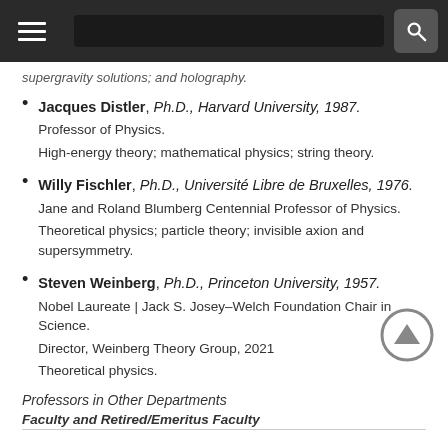[navigation bar with menu and search]
supergravity solutions; and holography.
Jacques Distler, Ph.D., Harvard University, 1987. Professor of Physics. High-energy theory; mathematical physics; string theory.
Willy Fischler, Ph.D., Université Libre de Bruxelles, 1976. Jane and Roland Blumberg Centennial Professor of Physics. Theoretical physics; particle theory; invisible axion and supersymmetry.
Steven Weinberg, Ph.D., Princeton University, 1957. Nobel Laureate | Jack S. Josey–Welch Foundation Chair in Science. Director, Weinberg Theory Group, 2021. Theoretical physics.
Professors in Other Departments
Faculty and Retired/Emeritus Faculty